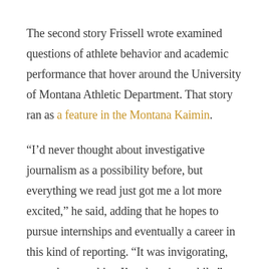The second story Frissell wrote examined questions of athlete behavior and academic performance that hover around the University of Montana Athletic Department. That story ran as a feature in the Montana Kaimin.
“I’d never thought about investigative journalism as a possibility before, but everything we read just got me a lot more excited,” he said, adding that he hopes to pursue internships and eventually a career in this kind of reporting. “It was invigorating, more than anything I’ve done in a while.”